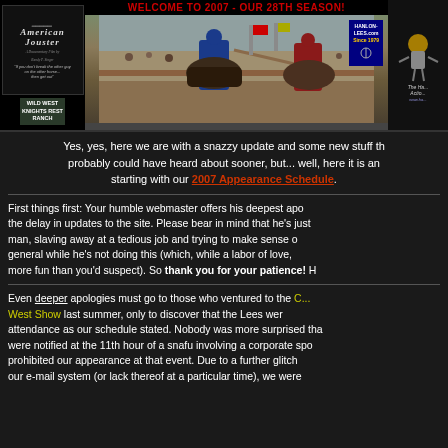[Figure (photo): Banner with American Jouster movie poster on left, jousting tournament photo in center with 'WELCOME TO 2007 - OUR 28TH SEASON!' header and Hanlon-Lees.com badge, knight action badge on right. Wild West Knights Rest Ranch text visible.]
Yes, yes, here we are with a snazzy update and some new stuff that you probably could have heard about sooner, but... well, here it is and starting with our 2007 Appearance Schedule.
First things first: Your humble webmaster offers his deepest apologies for the delay in updates to the site. Please bear in mind that he's just a man, slaving away at a tedious job and trying to make sense of life in general while he's not doing this (which, while a labor of love, is rather more fun than you'd suspect). So thank you for your patience! H
Even deeper apologies must go to those who ventured to the C... West Show last summer, only to discover that the Lees were not in attendance as our schedule stated. Nobody was more surprised than we were notified at the 11th hour of a snafu involving a corporate spo... prohibited our appearance at that event. Due to a further glitch our e-mail system (or lack thereof at a particular time), we were